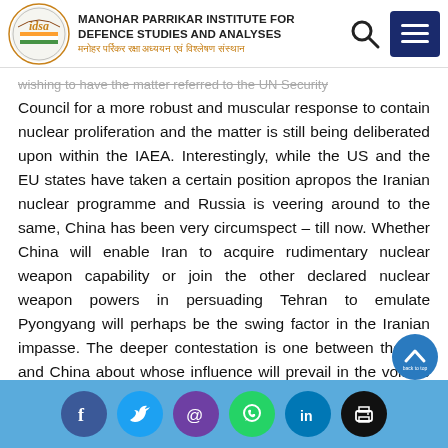MANOHAR PARRIKAR INSTITUTE FOR DEFENCE STUDIES AND ANALYSES
...wishing to have the matter referred to the UN Security Council for a more robust and muscular response to contain nuclear proliferation and the matter is still being deliberated upon within the IAEA. Interestingly, while the US and the EU states have taken a certain position apropos the Iranian nuclear programme and Russia is veering around to the same, China has been very circumspect – till now. Whether China will enable Iran to acquire rudimentary nuclear weapon capability or join the other declared nuclear weapon powers in persuading Tehran to emulate Pyongyang will perhaps be the swing factor in the Iranian impasse. The deeper contestation is one between the US and China about whose influence will prevail in the volatile south...
Social share icons: Facebook, Twitter, Email, WhatsApp, LinkedIn, Print